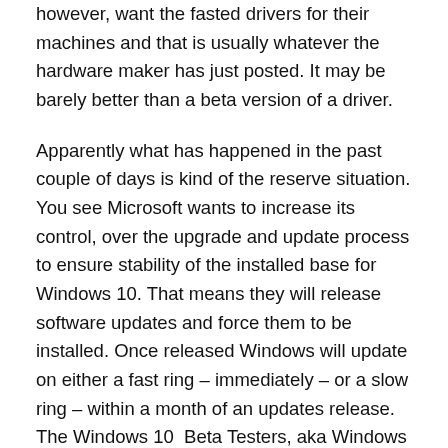however, want the fasted drivers for their machines and that is usually whatever the hardware maker has just posted. It may be barely better than a beta version of a driver.
Apparently what has happened in the past couple of days is kind of the reserve situation. You see Microsoft wants to increase its control, over the upgrade and update process to ensure stability of the installed base for Windows 10. That means they will release software updates and force them to be installed. Once released Windows will update on either a fast ring – immediately – or a slow ring – within a month of an updates release. The Windows 10  Beta Testers, aka Windows Insiders, are receiving these security updates that at present include display drivers and a number of other pieces of software that probably wouldn't normally come in a security patch.  It may be to